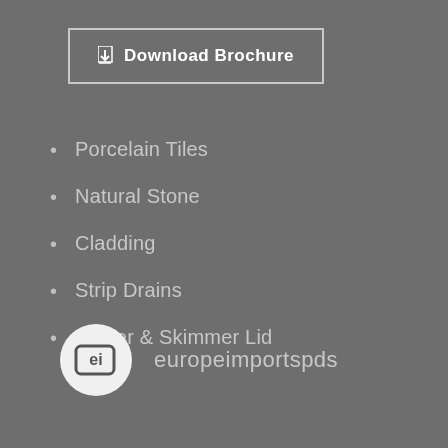[Figure (other): Download Brochure button with border and download icon]
Porcelain Tiles
Natural Stone
Cladding
Strip Drains
Sealer & Skimmer Lid
[Figure (logo): europeimportspds logo: circular badge with stylized ei icon and text europeimportspds]